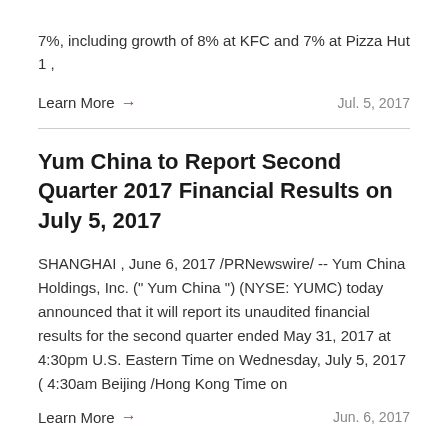7%, including growth of 8% at KFC and 7% at Pizza Hut 1 ,
Learn More → Jul. 5, 2017
Yum China to Report Second Quarter 2017 Financial Results on July 5, 2017
SHANGHAI , June 6, 2017 /PRNewswire/ -- Yum China Holdings, Inc. (" Yum China ") (NYSE: YUMC) today announced that it will report its unaudited financial results for the second quarter ended May 31, 2017 at 4:30pm U.S. Eastern Time on Wednesday, July 5, 2017 ( 4:30am Beijing /Hong Kong Time on
Learn More → Jun. 6, 2017